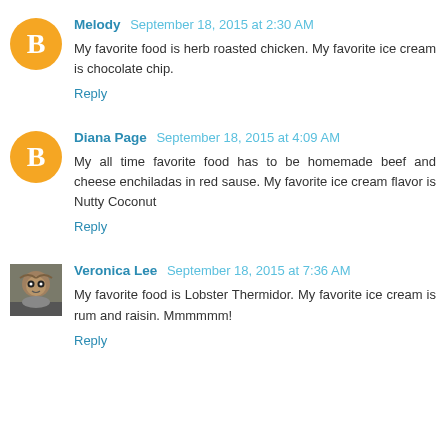Melody September 18, 2015 at 2:30 AM
My favorite food is herb roasted chicken. My favorite ice cream is chocolate chip.
Reply
Diana Page September 18, 2015 at 4:09 AM
My all time favorite food has to be homemade beef and cheese enchiladas in red sause. My favorite ice cream flavor is Nutty Coconut
Reply
Veronica Lee September 18, 2015 at 7:36 AM
My favorite food is Lobster Thermidor. My favorite ice cream is rum and raisin. Mmmmmm!
Reply